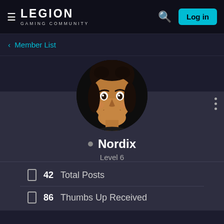LEGION GAMING COMMUNITY — Log in
< Member List
[Figure (photo): Circular avatar photo of a young man with dark hair, making an excited expression with mouth open and wide eyes, against a dark background.]
• Nordix
Level 6
42  Total Posts
86  Thumbs Up Received